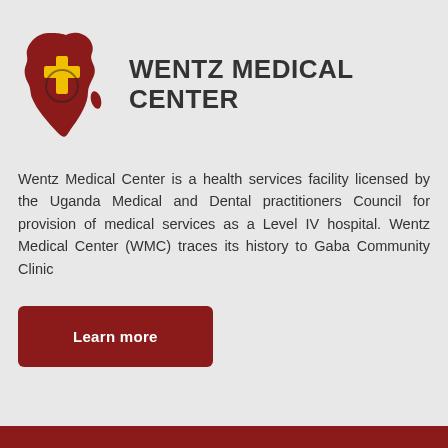[Figure (logo): Wentz Medical Center logo: red Africa continent silhouette with yellow cross and stethoscope]
WENTZ MEDICAL CENTER
Wentz Medical Center is a health services facility licensed by the Uganda Medical and Dental practitioners Council for provision of medical services as a Level IV hospital. Wentz Medical Center (WMC) traces its history to Gaba Community Clinic
Learn more